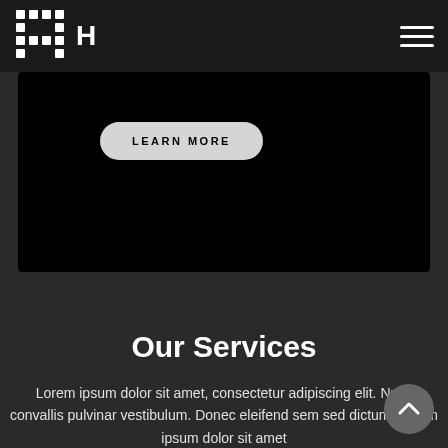readability.
[Figure (logo): Grid of dots logo with letter H beside it, white on dark background]
LEARN MORE
Our Services
Lorem ipsum dolor sit amet, consectetur adipiscing elit. Nulla convallis pulvinar vestibulum. Donec eleifend sem sed dictum. Lorem ipsum dolor sit amet.